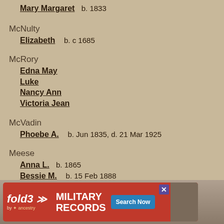Mary Margaret    b. 1833
McNulty
Elizabeth    b. c 1685
McRory
Edna May
Luke
Nancy Ann
Victoria Jean
McVadin
Phoebe A.    b. Jun 1835, d. 21 Mar 1925
Meese
Anna L.    b. 1865
Bessie M.    b. 15 Feb 1888
Dorothy    b. c 1895
Frank    b. c 1885
George    b. c 1890
Julia
Lillian
M...
[Figure (screenshot): Fold3 Military Records advertisement banner with red background, soldier photo, and Search Now button]